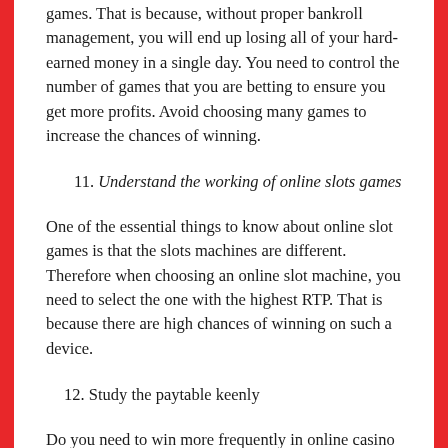games. That is because, without proper bankroll management, you will end up losing all of your hard-earned money in a single day. You need to control the number of games that you are betting to ensure you get more profits. Avoid choosing many games to increase the chances of winning.
11. Understand the working of online slots games
One of the essential things to know about online slot games is that the slots machines are different. Therefore when choosing an online slot machine, you need to select the one with the highest RTP. That is because there are high chances of winning on such a device.
12. Study the paytable keenly
Do you need to win more frequently in online casino Malaysia? Then you need to take your time and study